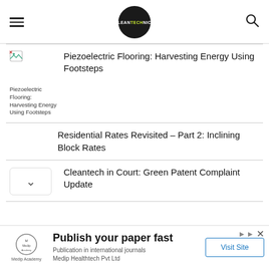CLEANTECHNICA navigation header with hamburger menu, logo, and search icon
Piezoelectric Flooring: Harvesting Energy Using Footsteps
Residential Rates Revisited – Part 2: Inclining Block Rates
Cleantech in Court: Green Patent Complaint Update
[Figure (advertisement): Medip Academy ad: Publish your paper fast. Publication in international journals. Medip Healthtech Pvt Ltd. Visit Site button.]